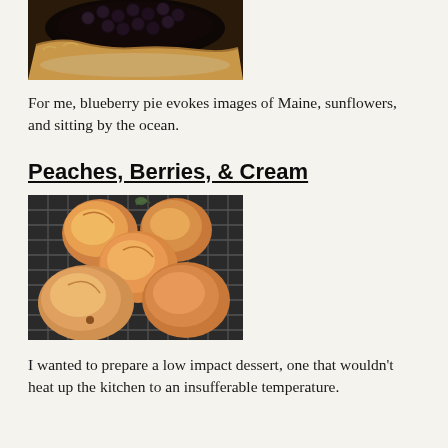[Figure (photo): A blueberry pie with a rustic crust, viewed from above, with blueberries on top]
For me, blueberry pie evokes images of Maine, sunflowers, and sitting by the ocean.
Peaches, Berries, & Cream
[Figure (photo): Several fresh peaches resting on a dark wire cooling rack]
I wanted to prepare a low impact dessert, one that wouldn't heat up the kitchen to an insufferable temperature.